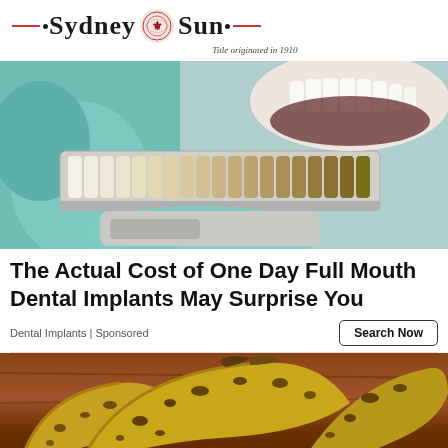[Figure (logo): Sydney Sun newspaper logo with red horizontal lines, decorative emblem, and tagline 'Title originated in 1910']
[Figure (photo): Dental photo showing gloved hands holding a tooth color shade guide next to a patient's open mouth with white teeth]
The Actual Cost of One Day Full Mouth Dental Implants May Surprise You
Dental Implants | Sponsored
[Figure (photo): Photo of overripe spotted bananas on a wooden table surface]